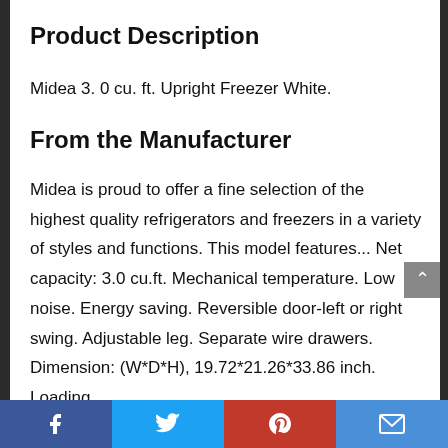Product Description
Midea 3. 0 cu. ft. Upright Freezer White.
From the Manufacturer
Midea is proud to offer a fine selection of the highest quality refrigerators and freezers in a variety of styles and functions. This model features... Net capacity: 3.0 cu.ft. Mechanical temperature. Low noise. Energy saving. Reversible door-left or right swing. Adjustable leg. Separate wire drawers. Dimension: (W*D*H), 19.72*21.26*33.86 inch. Loading
Facebook | Twitter | Pinterest | Email